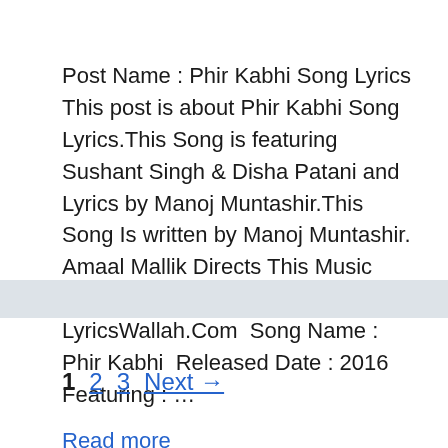Post Name : Phir Kabhi Song Lyrics This post is about Phir Kabhi Song Lyrics.This Song is featuring Sushant Singh & Disha Patani and Lyrics by Manoj Muntashir.This Song Is written by Manoj Muntashir. Amaal Mallik Directs This Music Video. Phir Kabhi Song lyrics – LyricsWallah.Com  Song Name : Phir Kabhi  Released Date : 2016  Featuring : ...
Read more
1  2  3  Next →